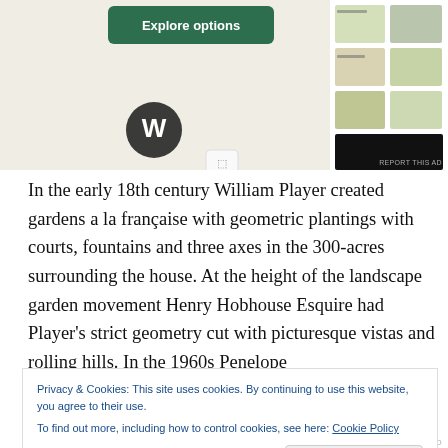[Figure (screenshot): WordPress website builder advertisement showing 'Explore options' button and food photography website mockup on mobile/tablet screens]
In the early 18th century William Player created gardens a la française with geometric plantings with courts, fountains and three axes in the 300-acres surrounding the house. At the height of the landscape garden movement Henry Hobhouse Esquire had Player's strict geometry cut with picturesque vistas and rolling hills. In the 1960s Penelope
Privacy & Cookies: This site uses cookies. By continuing to use this website, you agree to their use.
To find out more, including how to control cookies, see here: Cookie Policy